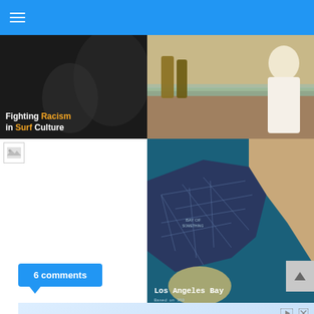Navigation menu
[Figure (photo): Dark surf culture image with text overlay reading 'Fighting Racism in Surf Culture' with Racism and Surf in orange/yellow]
[Figure (photo): Photo of person holding old bottles on a pier or bridge]
[Figure (photo): Broken/missing image placeholder icon]
[Figure (map): Los Angeles Bay map showing teal/ocean color with land masses, labeled 'Los Angeles Bay']
6 comments
[Figure (screenshot): Advertisement banner featuring Kynix logo in red italic text on light blue background]